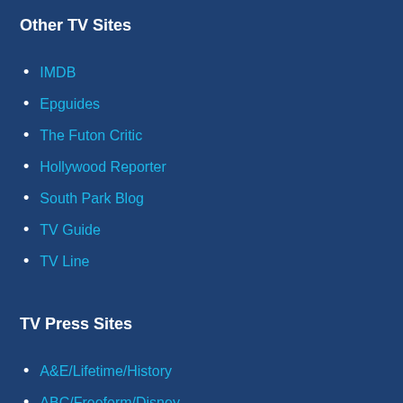Other TV Sites
IMDB
Epguides
The Futon Critic
Hollywood Reporter
South Park Blog
TV Guide
TV Line
TV Press Sites
A&E/Lifetime/History
ABC/Freeform/Disney
AMC/BBC
The CW
FOX
FX